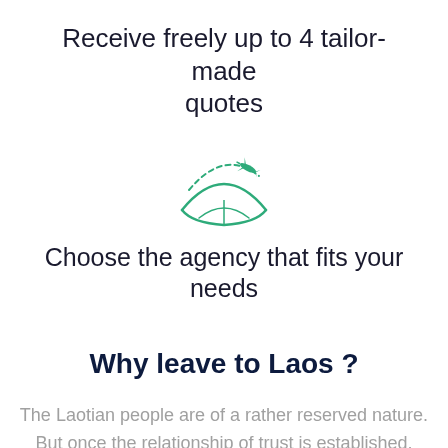Receive freely up to 4 tailor-made quotes
[Figure (illustration): Green icon of an airplane flying over a globe with a dashed arc path]
Choose the agency that fits your needs
Why leave to Laos ?
The Laotian people are of a rather reserved nature. But once the relationship of trust is established, Laotians are more friendly, sometimes even taking you by the